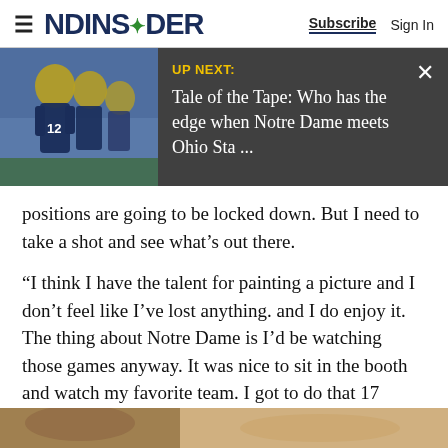NDINSiDER  Subscribe  Sign In
[Figure (screenshot): UP NEXT banner showing Notre Dame football players image on left and text 'UP NEXT: Tale of the Tape: Who has the edge when Notre Dame meets Ohio Sta ...' on dark background with X close button]
positions are going to be locked down. But I need to take a shot and see what’s out there.
“I think I have the talent for painting a picture and I don’t feel like I’ve lost anything. and I do enjoy it. The thing about Notre Dame is I’d be watching those games anyway. It was nice to sit in the booth and watch my favorite team. I got to do that 17 years, and feel fortunate to get a chance to do it for that long.”
[Figure (photo): Bottom strip showing partial photo, appears to be a person or scene related to article]